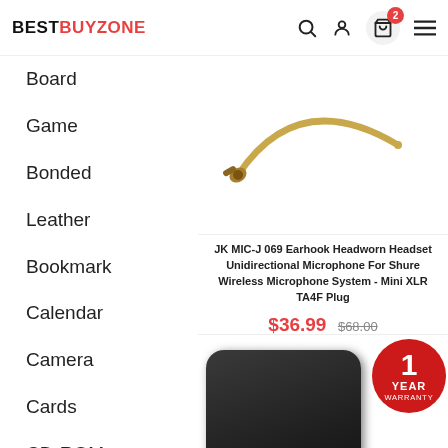BESTBUYZONE
Board
Game
Bonded
Leather
Bookmark
Calendar
Camera
Cards
CD-ROM
Comic
[Figure (photo): JK MIC-J 069 Earhook Headworn Headset — a flexible golden-colored microphone wire with connector]
JK MIC-J 069 Earhook Headworn Headset Unidirectional Microphone For Shure Wireless Microphone System - Mini XLR TA4F Plug
$36.99 $68.00
[Figure (photo): A black compact camera device shown with a 1 Year Warranty badge and Full HD 1920x1080P badge]